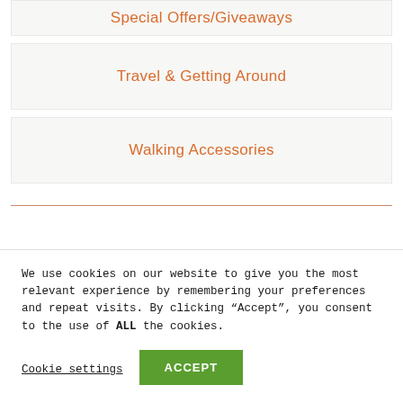Special Offers/Giveaways
Travel & Getting Around
Walking Accessories
We use cookies on our website to give you the most relevant experience by remembering your preferences and repeat visits. By clicking “Accept”, you consent to the use of ALL the cookies.
Cookie settings
ACCEPT